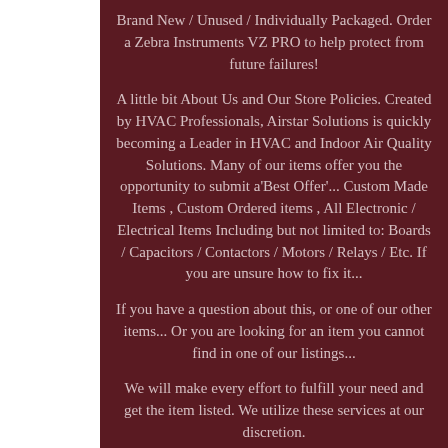Brand New / Unused / Individually Packaged. Order a Zebra Instruments VZ PRO to help protect from future failures!
A little bit About Us and Our Store Policies. Created by HVAC Professionals, Airstar Solutions is quickly becoming a Leader in HVAC and Indoor Air Quality Solutions. Many of our items offer you the opportunity to submit a'Best Offer'... Custom Made Items , Custom Ordered items , All Electronic / Electrical Items Including but not limited to: Boards / Capacitors / Contactors / Motors / Relays / Etc. If you are unsure how to fix it...
If you have a question about this, or one of our other items... Or you are looking for an item you cannot find in one of our listings...
We will make every effort to fulfill your need and get the item listed. We utilize these services at our discretion.
NEXT DAY AIR CUT OFF TIME IS 12:00pm Eastern Standard Time. We also offer local pick-up at our Boca Raton, Location for no additional charge. Check out my